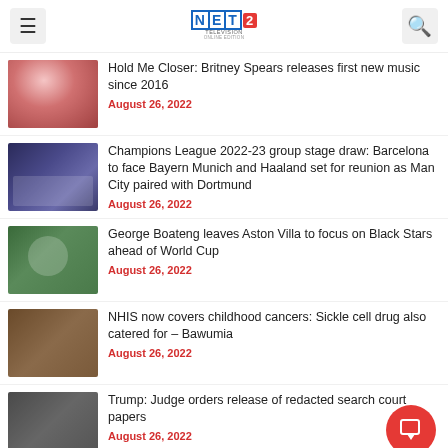NET2 Television
Hold Me Closer: Britney Spears releases first new music since 2016 — August 26, 2022
Champions League 2022-23 group stage draw: Barcelona to face Bayern Munich and Haaland set for reunion as Man City paired with Dortmund — August 26, 2022
George Boateng leaves Aston Villa to focus on Black Stars ahead of World Cup — August 26, 2022
NHIS now covers childhood cancers: Sickle cell drug also catered for – Bawumia — August 26, 2022
Trump: Judge orders release of redacted search court papers — August 26, 2022